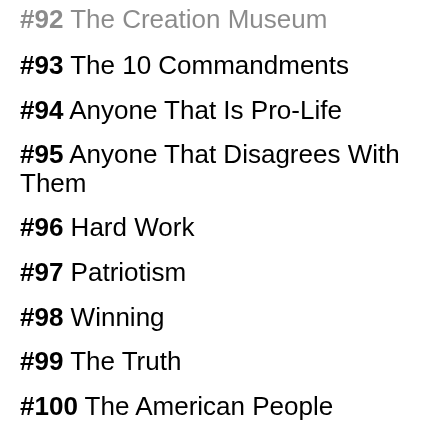#92 The Creation Museum
#93 The 10 Commandments
#94 Anyone That Is Pro-Life
#95 Anyone That Disagrees With Them
#96 Hard Work
#97 Patriotism
#98 Winning
#99 The Truth
#100 The American People